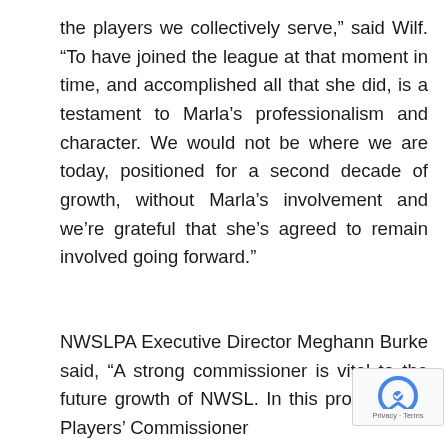the players we collectively serve,” said Wilf. “To have joined the league at that moment in time, and accomplished all that she did, is a testament to Marla’s professionalism and character. We would not be where we are today, positioned for a second decade of growth, without Marla’s involvement and we’re grateful that she’s agreed to remain involved going forward.”
NWSLPA Executive Director Meghann Burke said, “A strong commissioner is vital to the future growth of NWSL. In this process, the Players’ Commissioner